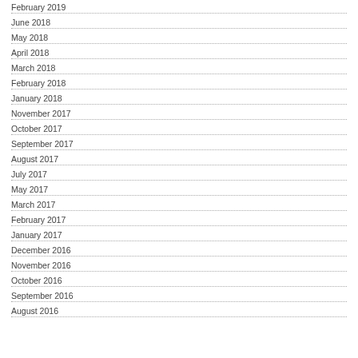February 2019
June 2018
May 2018
April 2018
March 2018
February 2018
January 2018
November 2017
October 2017
September 2017
August 2017
July 2017
May 2017
March 2017
February 2017
January 2017
December 2016
November 2016
October 2016
September 2016
August 2016